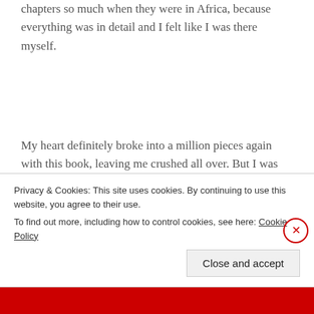chapters so much when they were in Africa, because everything was in detail and I felt like I was there myself.
My heart definitely broke into a million pieces again with this book, leaving me crushed all over. But I was more than glad that things were sorted out, and nothing too bad happened to my beloved characters.
Privacy & Cookies: This site uses cookies. By continuing to use this website, you agree to their use.
To find out more, including how to control cookies, see here: Cookie Policy
Close and accept